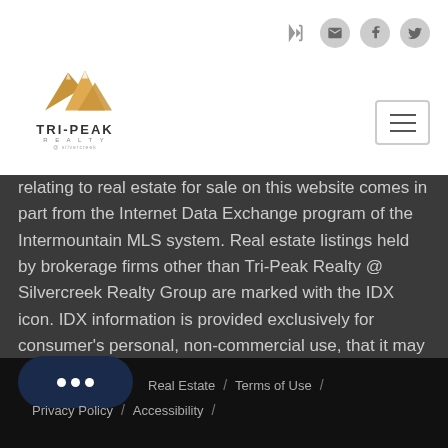[Figure (logo): Tri-Peak Realty logo with mountain icon and company name]
relating to real estate for sale on this website comes in part from the Internet Data Exchange program of the Intermountain MLS system. Real estate listings held by brokerage firms other than Tri-Peak Realty @ Silvercreek Realty Group are marked with the IDX icon. IDX information is provided exclusively for consumer's personal, non-commercial use, that it may not be used for any purpose other than   Show More...
Real Estate / Terms of Use / Privacy Policy / Accessibility /